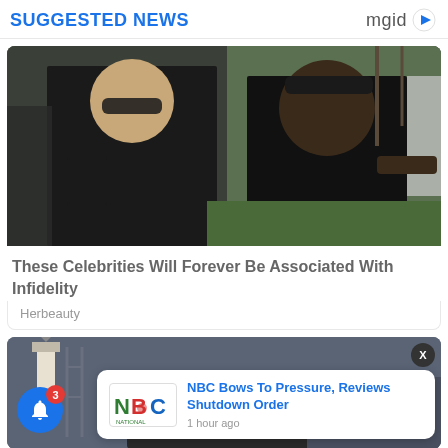SUGGESTED NEWS
[Figure (photo): Photo of two people dressed in black, a woman with sunglasses and a man with a cap, outdoors]
These Celebrities Will Forever Be Associated With Infidelity
Herbeauty
[Figure (screenshot): Partial image of a second news card with a person near a vehicle, partially obscured by a notification popup]
NBC Bows To Pressure, Reviews Shutdown Order
1 hour ago